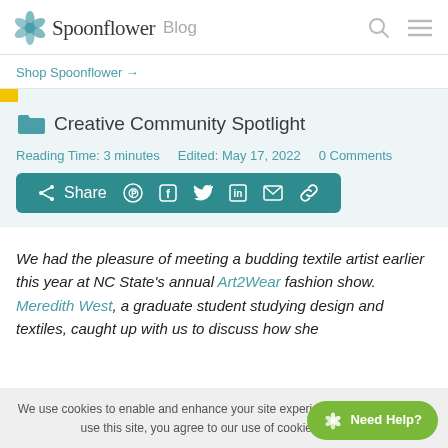Spoonflower Blog
Shop Spoonflower →
Creative Community Spotlight
Reading Time: 3 minutes   Edited: May 17, 2022   0 Comments
Share (Pinterest, Facebook, Twitter, LinkedIn, Email, Link)
We had the pleasure of meeting a budding textile artist earlier this year at NC State's annual Art2Wear fashion show. Meredith West, a graduate student studying design and textiles, caught up with us to discuss how she
We use cookies to enable and enhance your site experience. By continuing to use this site, you agree to our use of cookies.